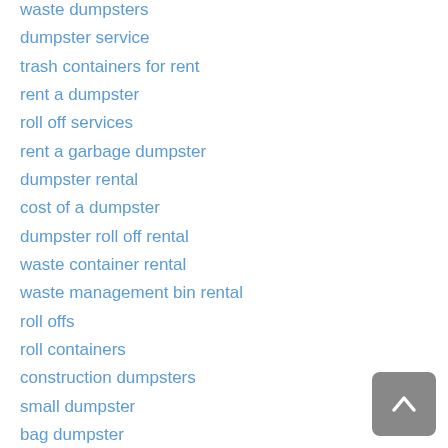waste dumpsters
dumpster service
trash containers for rent
rent a dumpster
roll off services
rent a garbage dumpster
dumpster rental
cost of a dumpster
dumpster roll off rental
waste container rental
waste management bin rental
roll offs
roll containers
construction dumpsters
small dumpster
bag dumpster
construction dumpsters for rent
garbage dumpster rentals
portable dumpster